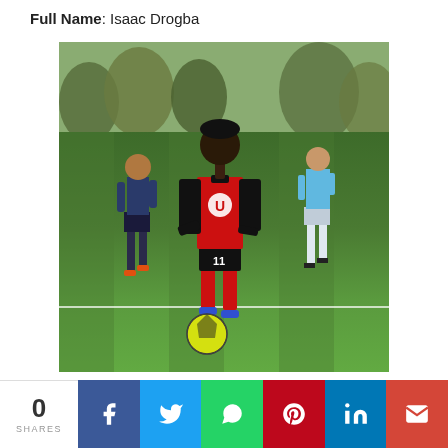Full Name: Isaac Drogba
[Figure (photo): Soccer player Isaac Drogba wearing red and black jersey with number 11, red socks and blue cleats, dribbling a yellow-green ball on a grass field. Two other players visible in background.]
0 SHARES
[Figure (infographic): Social share bar with buttons for Facebook, Twitter, WhatsApp, Pinterest, LinkedIn, and Gmail]